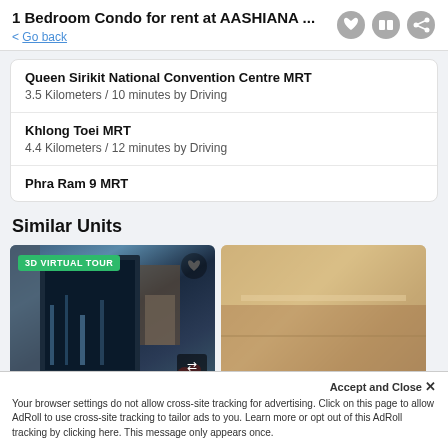1 Bedroom Condo for rent at AASHIANA ...
< Go back
Queen Sirikit National Convention Centre MRT
3.5 Kilometers / 10 minutes by Driving
Khlong Toei MRT
4.4 Kilometers / 12 minutes by Driving
Phra Ram 9 MRT
Similar Units
[Figure (photo): Condo interior photo with 3D Virtual Tour badge, showing living room with curtains and city view]
[Figure (photo): Condo interior photo showing ceiling and wall]
Accept and Close ×
Your browser settings do not allow cross-site tracking for advertising. Click on this page to allow AdRoll to use cross-site tracking to tailor ads to you. Learn more or opt out of this AdRoll tracking by clicking here. This message only appears once.